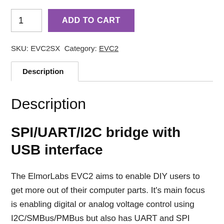1  ADD TO CART
SKU: EVC2SX  Category: EVC2
Description
Description
SPI/UART/I2C bridge with USB interface
The ElmorLabs EVC2 aims to enable DIY users to get more out of their computer parts. It's main focus is enabling digital or analog voltage control using I2C/SMBus/PMBus but also has UART and SPI functionality. The latest version is called